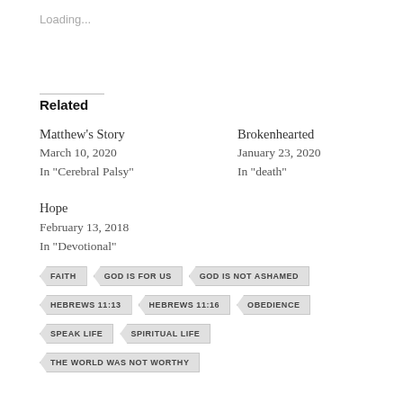Loading...
Related
Matthew's Story
March 10, 2020
In "Cerebral Palsy"
Brokenhearted
January 23, 2020
In "death"
Hope
February 13, 2018
In "Devotional"
FAITH
GOD IS FOR US
GOD IS NOT ASHAMED
HEBREWS 11:13
HEBREWS 11:16
OBEDIENCE
SPEAK LIFE
SPIRITUAL LIFE
THE WORLD WAS NOT WORTHY